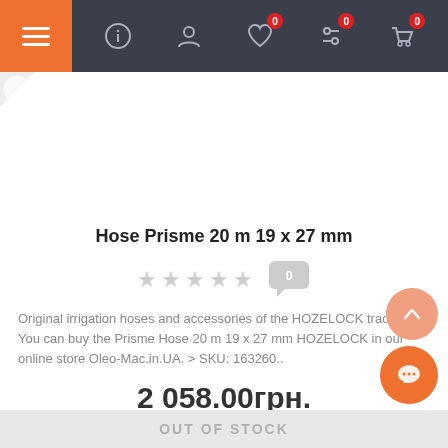Navigation bar with menu, info, account, wishlist (0), filters (0), cart (0)
[Figure (screenshot): Product image placeholder area with corner peel effect]
Hose Prisme 20 m 19 x 27 mm
[Figure (other): 5 empty/grey stars rating with comment bubble showing 0]
Original irrigation hoses and accessories of the HOZELOCK trademark. You can buy the Prisme Hose 20 m 19 x 27 mm HOZELOCK in our online store Oleo-Mac.in.UA. > SKU: 163260..
2 058.00грн.
OUT OF STOCK